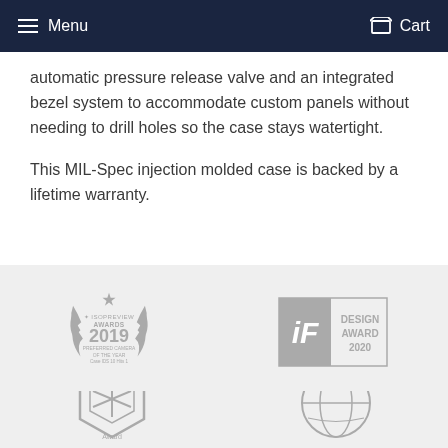Menu  Cart
automatic pressure release valve and an integrated bezel system to accommodate custom panels without needing to drill holes so the case stays watertight.
This MIL-Spec injection molded case is backed by a lifetime warranty.
[Figure (logo): ISOPREVIEW Awards 2019 badge - Preferred Camera of the Year, Case IDS 10 Hits 1]
[Figure (logo): iF Design Award 2020 badge]
[Figure (logo): ISPO Award badge (partially visible)]
[Figure (logo): Red Dot or similar design award globe badge (partially visible)]